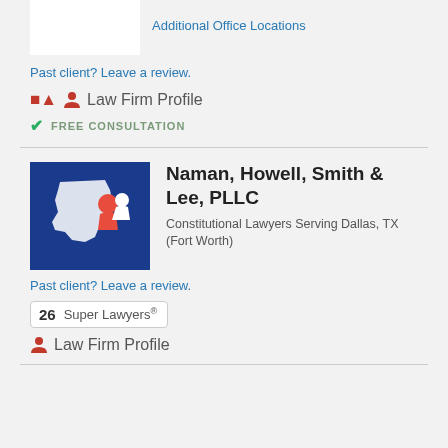[Figure (logo): White box logo placeholder at top left]
Additional Office Locations
Past client? Leave a review.
Law Firm Profile
FREE CONSULTATION
[Figure (logo): Naman Howell Smith & Lee PLLC logo - blue background with Texas map graphic]
Naman, Howell, Smith & Lee, PLLC
Constitutional Lawyers Serving Dallas, TX (Fort Worth)
Past client? Leave a review.
26  Super Lawyers®
Law Firm Profile